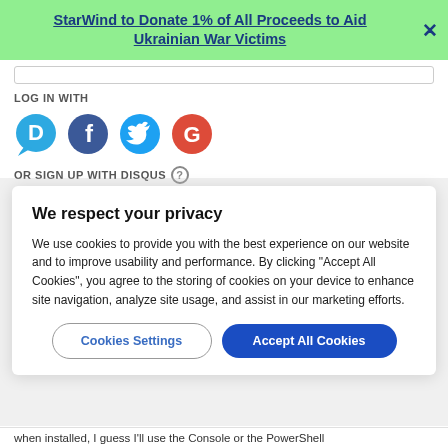StarWind to Donate 1% of All Proceeds to Aid Ukrainian War Victims
LOG IN WITH
[Figure (illustration): Social login icons: Disqus (blue chat bubble with D), Facebook (dark blue circle with f), Twitter (cyan circle with bird), Google (red circle with G)]
OR SIGN UP WITH DISQUS ?
We respect your privacy
We use cookies to provide you with the best experience on our website and to improve usability and performance. By clicking "Accept All Cookies", you agree to the storing of cookies on your device to enhance site navigation, analyze site usage, and assist in our marketing efforts.
Cookies Settings
Accept All Cookies
when installed, I guess I'll use the Console or the PowerShell